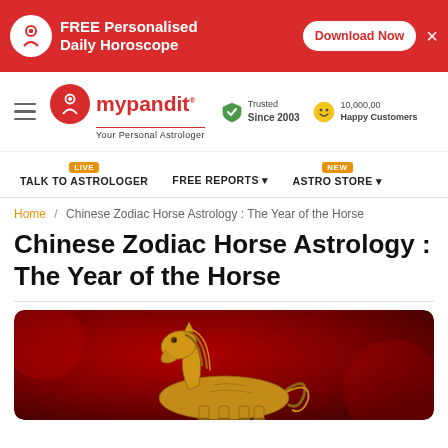FREE Personalised Daily Horoscope — Download Now
[Figure (logo): mypandit - Your Personal Astrologer logo with red circle icon]
Trusted Since 2003   10,000,00 Happy Customers
TALK TO ASTROLOGER [LIVE]   FREE REPORTS   ASTRO STORE [NEW]
Home / Chinese Zodiac Horse Astrology : The Year of the Horse
Chinese Zodiac Horse Astrology : The Year of the Horse
[Figure (illustration): Golden/yellow decorative horse illustration on dark red background, Chinese zodiac style]